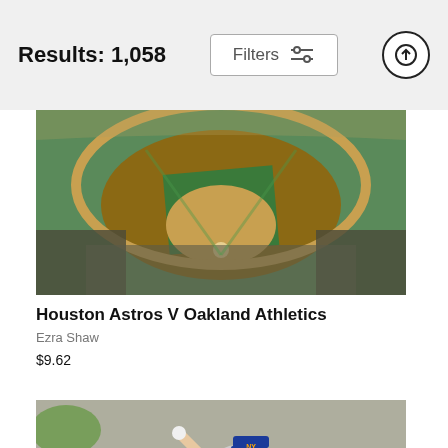Results: 1,058
Filters
[Figure (photo): Aerial view of a baseball stadium (Oakland Athletics) filled with fans during a game, showing the green diamond field from above.]
Houston Astros V Oakland Athletics
Ezra Shaw
$9.62
[Figure (photo): A New York Mets pitcher in gray uniform mid-windup on the mound, with blurred stadium background and a PANAMA advertisement visible.]